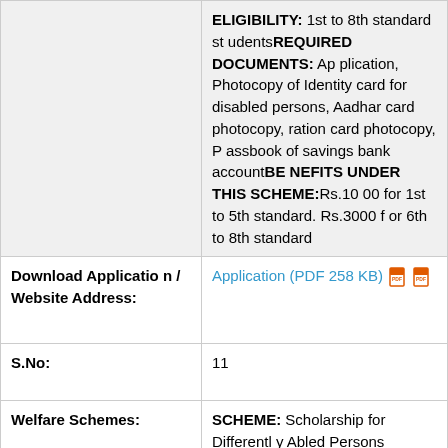|  | ELIGIBILITY: 1st to 8th standard students REQUIRED DOCUMENTS: Application, Photocopy of Identity card for disabled persons, Aadhar card photocopy, ration card photocopy, Passbook of savings bank account BENEFITS UNDER THIS SCHEME: Rs.1000 for 1st to 5th standard. Rs.3000 for 6th to 8th standard |
| Download Application / Website Address: | Application (PDF 258 KB) |
| S.No: | 11 |
| Welfare Schemes: | SCHEME: Scholarship for Differently Abled Persons

ELIGIBILITY: 9th to 12th standard and I.T.I Students

REQUIRED DOCUMENTS: Application, Attestation by the Head Master Photocopy of Identity card for disabl |